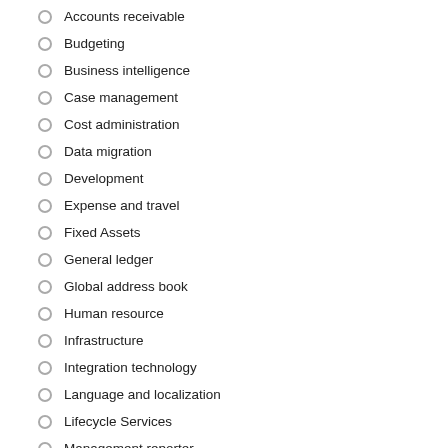Accounts receivable
Budgeting
Business intelligence
Case management
Cost administration
Data migration
Development
Expense and travel
Fixed Assets
General ledger
Global address book
Human resource
Infrastructure
Integration technology
Language and localization
Lifecycle Services
Management reporter
Organization model